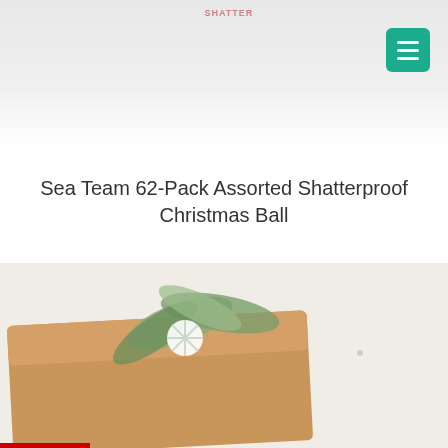[Figure (photo): Top portion of a product photo showing shatterproof Christmas ball ornaments on a light background, partially cropped]
Sea Team 62-Pack Assorted Shatterproof Christmas Ball
$36.99
ADD TO CART
[Figure (photo): Bottom portion showing a kraft paper wrapped gift with a snowflake decoration and greenery on a white background]